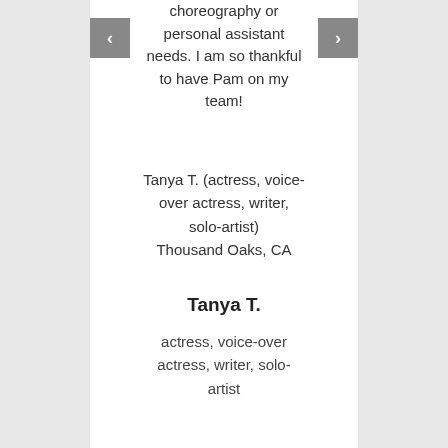choreography or personal assistant needs. I am so thankful to have Pam on my team!
Tanya T. (actress, voice-over actress, writer, solo-artist) Thousand Oaks, CA
Tanya T.
actress, voice-over actress, writer, solo-artist